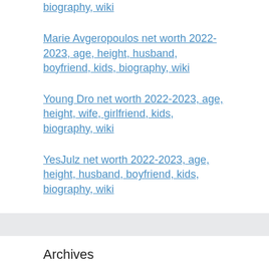biography, wiki
Marie Avgeropoulos net worth 2022-2023, age, height, husband, boyfriend, kids, biography, wiki
Young Dro net worth 2022-2023, age, height, wife, girlfriend, kids, biography, wiki
YesJulz net worth 2022-2023, age, height, husband, boyfriend, kids, biography, wiki
Archives